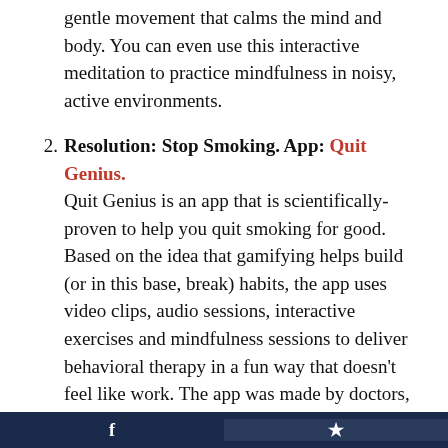gentle movement that calms the mind and body. You can even use this interactive meditation to practice mindfulness in noisy, active environments.
Resolution: Stop Smoking. App: Quit Genius. Quit Genius is an app that is scientifically-proven to help you quit smoking for good. Based on the idea that gamifying helps build (or in this base, break) habits, the app uses video clips, audio sessions, interactive exercises and mindfulness sessions to deliver behavioral therapy in a fun way that doesn't feel like work. The app was made by doctors, and has helped over 700,000 people quit smoking.
Resolution: Get Out More. App: WillCalled. Think of every concert, sporting event, comedy show or movie you wanted to attend but didn't